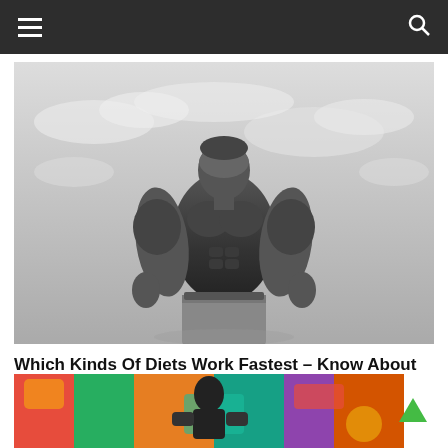Navigation bar with menu and search icons
[Figure (photo): Black and white photo of a muscular male bodybuilder standing with arms out, viewed from below against a cloudy sky]
Which Kinds Of Diets Work Fastest – Know About Them
February 23, 2021  Carrie  Comments Off
[Figure (photo): Colorful photo of a muscular male fighter/athlete against a graffiti wall background, partially visible at bottom of page]